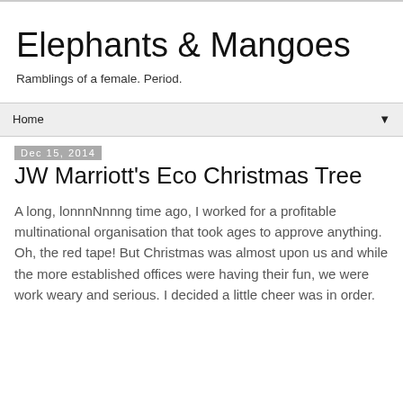Elephants & Mangoes
Ramblings of a female. Period.
Home
Dec 15, 2014
JW Marriott's Eco Christmas Tree
A long, lonnnNnnng time ago, I worked for a profitable multinational organisation that took ages to approve anything. Oh, the red tape! But Christmas was almost upon us and while the more established offices were having their fun, we were work weary and serious. I decided a little cheer was in order.